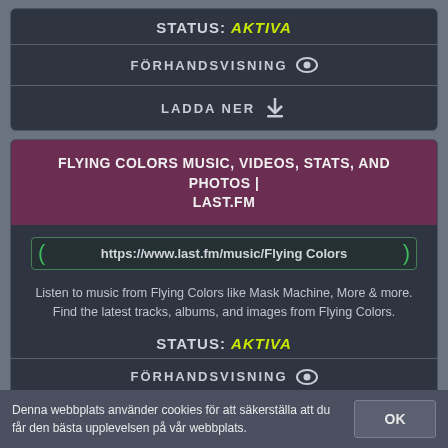STATUS: AKTIVA
FÖRHANDSVISNING
LADDA NER
FLYING COLORS MUSIC, VIDEOS, STATS, AND PHOTOS | LAST.FM
https://www.last.fm/music/Flying Colors
Listen to music from Flying Colors like Mask Machine, More & more. Find the latest tracks, albums, and images from Flying Colors.
STATUS: AKTIVA
FÖRHANDSVISNING
Denna webbplats använder cookies för att säkerställa att du får den bästa upplevelsen på vår webbplats.